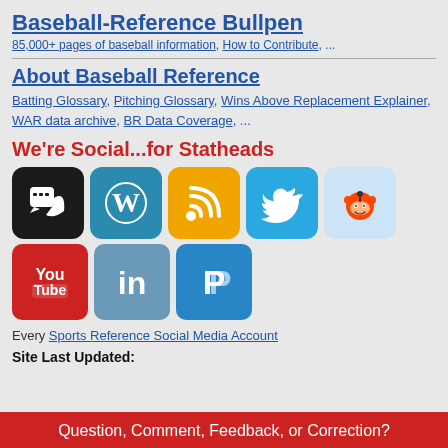Baseball-Reference Bullpen
85,000+ pages of baseball information, How to Contribute, ...
About Baseball Reference
Batting Glossary, Pitching Glossary, Wins Above Replacement Explainer, WAR data archive, BR Data Coverage, ...
We're Social...for Statheads
[Figure (infographic): Row of social media icons: phone/chat app (black), WordPress (teal), RSS feed (orange), Twitter (blue), Reddit (light blue). Second row: YouTube (red), LinkedIn (blue-grey), PayPal (blue).]
Every Sports Reference Social Media Account
Site Last Updated:
Question, Comment, Feedback, or Correction?